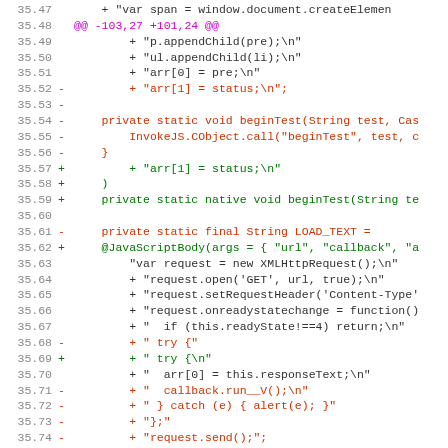[Figure (screenshot): Diff view of source code showing deleted lines in red and added lines in green, with line numbers 35.47 through 35.78]